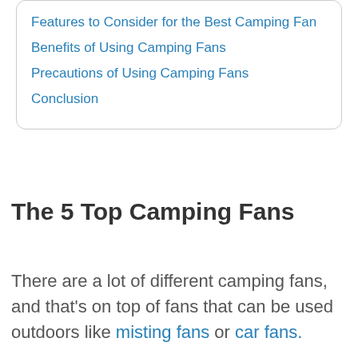Features to Consider for the Best Camping Fan
Benefits of Using Camping Fans
Precautions of Using Camping Fans
Conclusion
The 5 Top Camping Fans
There are a lot of different camping fans, and that's on top of fans that can be used outdoors like misting fans or car fans.